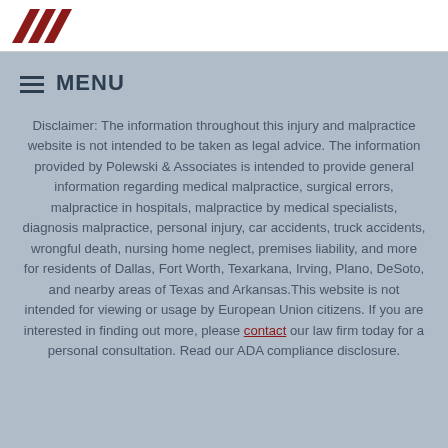[Figure (logo): Red angular logo marks at top of page]
MENU
Disclaimer: The information throughout this injury and malpractice website is not intended to be taken as legal advice. The information provided by Polewski & Associates is intended to provide general information regarding medical malpractice, surgical errors, malpractice in hospitals, malpractice by medical specialists, diagnosis malpractice, personal injury, car accidents, truck accidents, wrongful death, nursing home neglect, premises liability, and more for residents of Dallas, Fort Worth, Texarkana, Irving, Plano, DeSoto, and nearby areas of Texas and Arkansas. This website is not intended for viewing or usage by European Union citizens. If you are interested in finding out more, please contact our law firm today for a personal consultation. Read our ADA compliance disclosure.